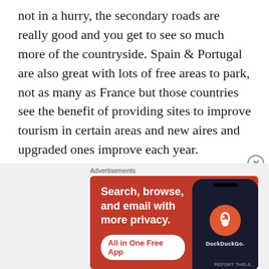not in a hurry, the secondary roads are really good and you get to see so much more of the countryside. Spain & Portugal are also great with lots of free areas to park, not as many as France but those countries see the benefit of providing sites to improve tourism in certain areas and new aires and upgraded ones improve each year.

All the European countries have different toll systems so it's worth a quick google before you cross any borders. Most are simply pay as you go, some are electronic and some like Austria and Switzerland you
[Figure (other): DuckDuckGo advertisement banner with orange background. Text reads 'Search, browse, and email with more privacy.' with a white button saying 'All in One Free App' and a phone image showing the DuckDuckGo logo and brand name.]